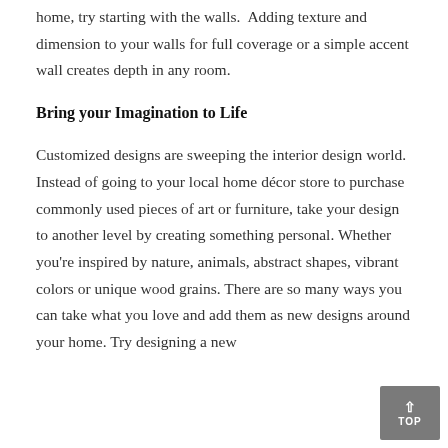home, try starting with the walls. Adding texture and dimension to your walls for full coverage or a simple accent wall creates depth in any room.
Bring your Imagination to Life
Customized designs are sweeping the interior design world. Instead of going to your local home décor store to purchase commonly used pieces of art or furniture, take your design to another level by creating something personal. Whether you're inspired by nature, animals, abstract shapes, vibrant colors or unique wood grains. There are so many ways you can take what you love and add them as new designs around your home. Try designing a new